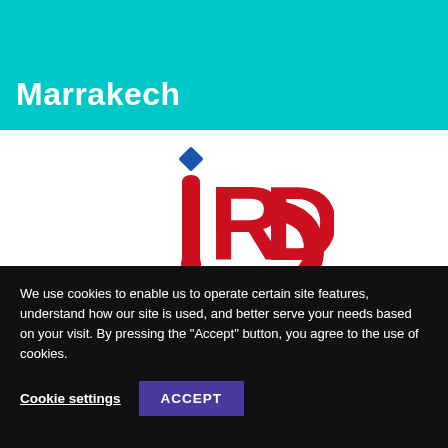Marrakech
[Figure (logo): IRD (Institut de Recherche pour le Développement) logo — stylized red letter i with blue diamond dot, large red RD letters, red curved base forming a path shape]
Institut de Recherche pour le Développement
We use cookies to enable us to operate certain site features, understand how our site is used, and better serve your needs based on your visit. By pressing the "Accept" button, you agree to the use of cookies.
Cookie settings
ACCEPT